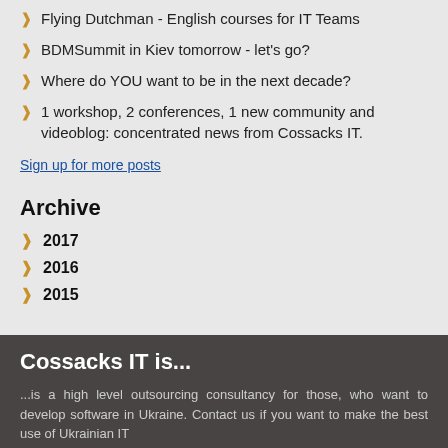Flying Dutchman - English courses for IT Teams
BDMSummit in Kiev tomorrow - let's go?
Where do YOU want to be in the next decade?
1 workshop, 2 conferences, 1 new community and videoblog: concentrated news from Cossacks IT.
Sign up for more posts
Archive
2017
2016
2015
Cossacks IT is...
...is a high level outsourcing consultancy for those, who want to develop software in Ukraine. Contact us if you want to make the best use of Ukrainian IT